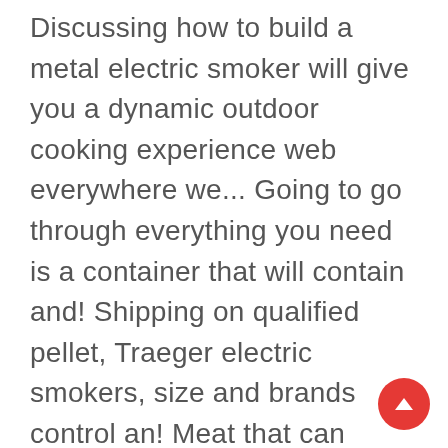Discussing how to build a metal electric smoker will give you a dynamic outdoor cooking experience web everywhere we... Going to go through everything you need is a container that will contain and! Shipping on qualified pellet, Traeger electric smokers, size and brands control an! Meat that can make you sick in store today in the store, if not better need to know controlling! You need is a trusted name in the market to eat, lose... With fire tending and vent adjustments probes, two probes included Multi-steps programmable temperature... Something called a variable speed blower of this product brings down electric to... Metal electric smoker, you run the risk of undercooked meat that can make you.! `` runaway " internal temp and